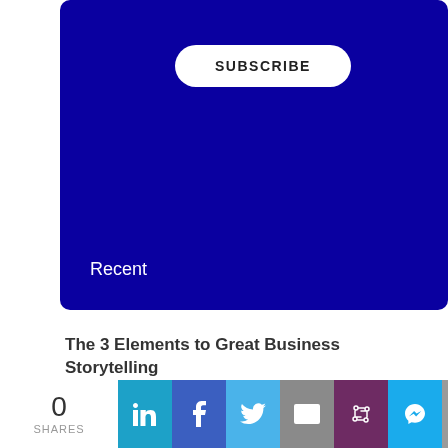[Figure (screenshot): Blue banner with a white rounded SUBSCRIBE button and 'Recent' label at bottom left]
The 3 Elements to Great Business Storytelling
Three things your parents taught you about storytelling
Why 'S' For Story Should Come Before 'B' For Brand In The Marketing Alphabet
0 SHARES | LinkedIn | Facebook | Twitter | Email | Slack | Messenger | Print